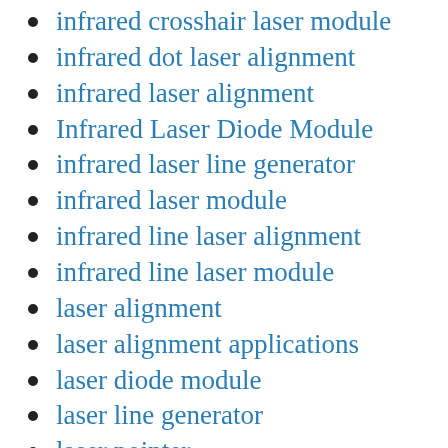infrared crosshair laser module
infrared dot laser alignment
infrared laser alignment
Infrared Laser Diode Module
infrared laser line generator
infrared laser module
infrared line laser alignment
infrared line laser module
laser alignment
laser alignment applications
laser diode module
laser line generator
laser pointer
laser safety glasses
laser safety goggles
parallel line laser
red cross line laser